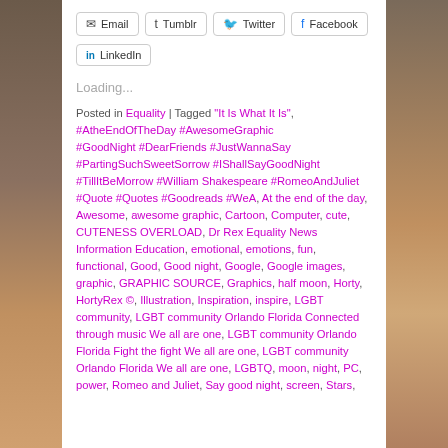Email | Tumblr | Twitter | Facebook | LinkedIn (share buttons)
Loading...
Posted in Equality | Tagged "It Is What It Is", #AtheEndOfTheDay #AwesomeGraphic #GoodNight #DearFriends #JustWannaSay #PartingSuchSweetSorrow #IShallSayGoodNight #TillItBeMorrow #William Shakespeare #RomeoAndJuliet #Quote #Quotes #Goodreads #WeA, At the end of the day, Awesome, awesome graphic, Cartoon, Computer, cute, CUTENESS OVERLOAD, Dr Rex Equality News Information Education, emotional, emotions, fun, functional, Good, Good night, Google, Google images, graphic, GRAPHIC SOURCE, Graphics, half moon, Horty, HortyRex ©, Illustration, Inspiration, inspire, LGBT community, LGBT community Orlando Florida Connected through music We all are one, LGBT community Orlando Florida Fight the fight We all are one, LGBT community Orlando Florida We all are one, LGBTQ, moon, night, PC, power, Romeo and Juliet, Say good night, screen, Stars,